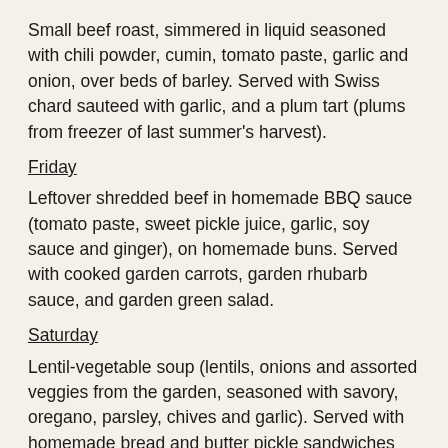Small beef roast, simmered in liquid seasoned with chili powder, cumin, tomato paste, garlic and onion, over beds of barley. Served with Swiss chard sauteed with garlic, and a plum tart (plums from freezer of last summer's harvest).
Friday
Leftover shredded beef in homemade BBQ sauce (tomato paste, sweet pickle juice, garlic, soy sauce and ginger), on homemade buns. Served with cooked garden carrots, garden rhubarb sauce, and garden green salad.
Saturday
Lentil-vegetable soup (lentils, onions and assorted veggies from the garden, seasoned with savory, oregano, parsley, chives and garlic). Served with homemade bread and butter pickle sandwiches (bread, zucchini bread & butter pickles, and butter), a garden green salad with lettuce and carrot slices, fresh blackberries for dessert.
Sunday (cookout)